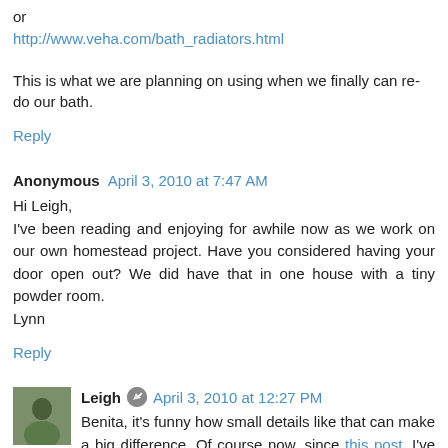or
http://www.veha.com/bath_radiators.html
This is what we are planning on using when we finally can re-do our bath.
Reply
Anonymous  April 3, 2010 at 7:47 AM
Hi Leigh,
I've been reading and enjoying for awhile now as we work on our own homestead project. Have you considered having your door open out? We did have that in one house with a tiny powder room.
Lynn
Reply
Leigh  April 3, 2010 at 12:27 PM
Benita, it's funny how small details like that can make a big difference. Of course now, since this post, I've realized that